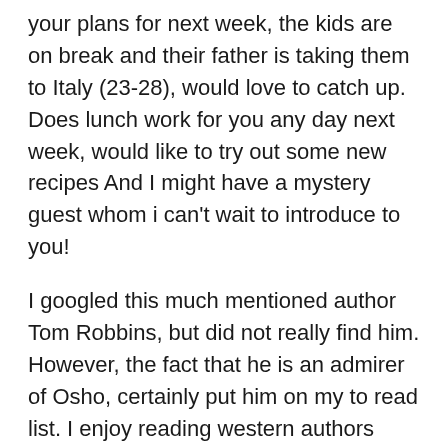your plans for next week, the kids are on break and their father is taking them to Italy (23-28), would love to catch up. Does lunch work for you any day next week, would like to try out some new recipes And I might have a mystery guest whom i can't wait to introduce to you!
I googled this much mentioned author Tom Robbins, but did not really find him. However, the fact that he is an admirer of Osho, certainly put him on my to read list. I enjoy reading western authors who have travelled to our end of the universe physically or spiritually and seeing the world from their lens. I just read Dalrymple's Nine Lives, an author whom I have followed and enjoy thoroughly. It's fabulous to see him almost merge into the Central/South Asian culture that he writes so eloquently about (I found even his photograph reflected